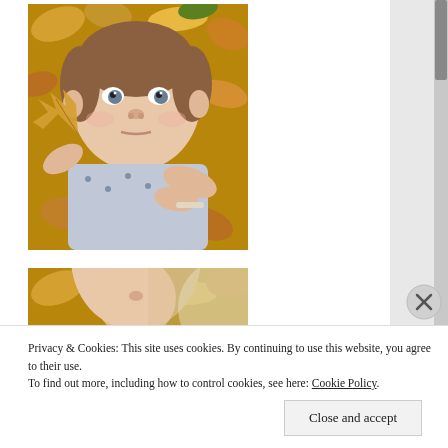[Figure (photo): Baby lying in autumn leaves, holding a maple leaf, looking at camera with serious expression]
[Figure (photo): Partial view of baby photo with autumn leaves background, blurred/partially visible]
Privacy & Cookies: This site uses cookies. By continuing to use this website, you agree to their use.
To find out more, including how to control cookies, see here: Cookie Policy
Close and accept